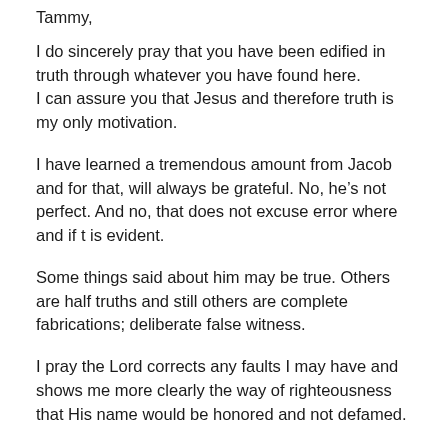Tammy,
I do sincerely pray that you have been edified in truth through whatever you have found here.
I can assure you that Jesus and therefore truth is my only motivation.
I have learned a tremendous amount from Jacob and for that, will always be grateful. No, he’s not perfect. And no, that does not excuse error where and if t is evident.
Some things said about him may be true. Others are half truths and still others are complete fabrications; deliberate false witness.
I pray the Lord corrects any faults I may have and shows me more clearly the way of righteousness that His name would be honored and not defamed.